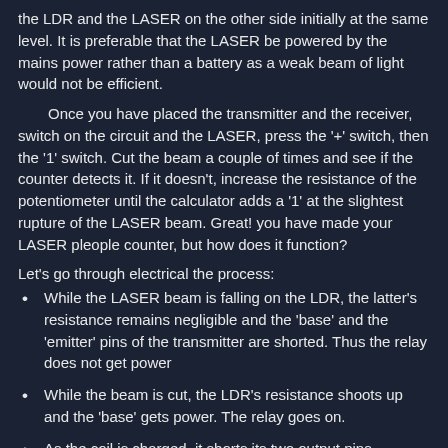the LDR and the LASER on the other side initially at the same level. It is preferable that the LASER be powered by the mains power rather than a battery as a weak beam of light would not be efficient.
Once you have placed the transmitter and the receiver, switch on the circuit and the LASER, press the '+' switch, then the '1' switch. Cut the beam a couple of times and see if the counter detects it. If it doesn't, increase the resistance of the potentiometer until the calculator adds a '1' at the slightest rupture of the LASER beam. Great! you have made your LASER pleople counter, but how does it function?
Let's go through electrical the process:
While the LASER beam is falling on the LDR, the latter's resistance remains negligible and the 'base' and the 'emitter' pins of the transmitter are shorted. Thus the relay does not get power
While the beam is cut, the LDR's resistance shoots up and the 'base' gets power. The relay goes on.
As the coil is charged, it shorts its two output pins